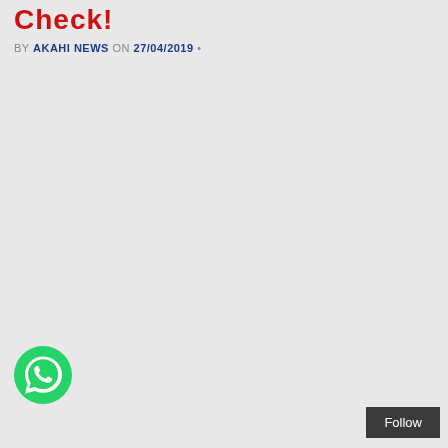Check!
BY AKAHI NEWS ON 27/04/2019 •
[Figure (logo): WhatsApp circular green button with white phone/chat icon]
Follow